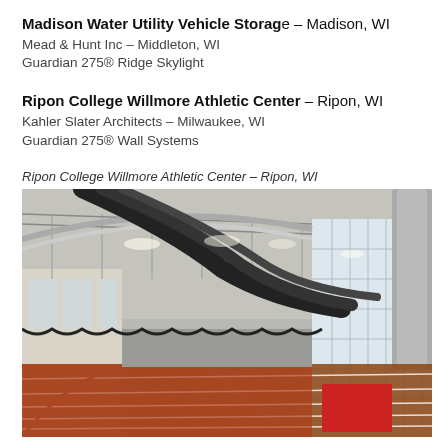Madison Water Utility Vehicle Storage – Madison, WI
Mead & Hunt Inc – Middleton, WI
Guardian 275® Ridge Skylight
Ripon College Willmore Athletic Center – Ripon, WI
Kahler Slater Architects – Milwaukee, WI
Guardian 275® Wall Systems
Ripon College Willmore Athletic Center – Ripon, WI
[Figure (photo): Interior photograph of the Ripon College Willmore Athletic Center showing an indoor track facility with red running track lanes, large translucent wall panel system on the right, exposed steel roof structure, black ductwork, and gymnasium lighting overhead.]